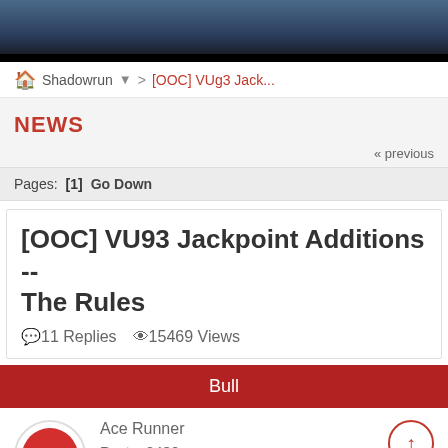[Figure (screenshot): Game screenshot header banner showing a dark blue/tiled background with character figures]
Shadowrun > [OOC] VUg3 Jack...
NEWS
« previous
Pages: [1] Go Down
[OOC] VU93 Jackpoint Additions -- The Rules
11 Replies  15469 Views
Bull
Ace Runner
Posts: 2430